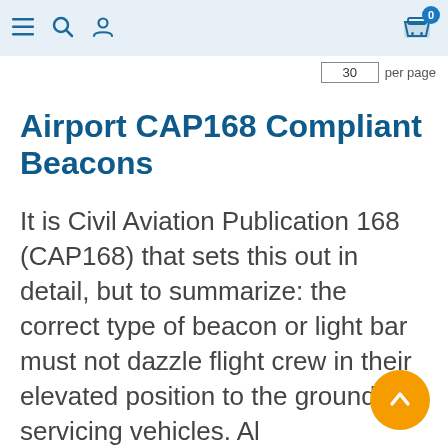Navigation header with menu, search, profile icons and cart (0 items)
30 per page
Airport CAP168 Compliant Beacons
It is Civil Aviation Publication 168 (CAP168) that sets this out in detail, but to summarize: the correct type of beacon or light bar must not dazzle flight crew in their elevated position to the ground servicing vehicles. Al recommended Beacons and light bars
[Figure (other): Orange circular scroll-to-top button with upward chevron arrow]